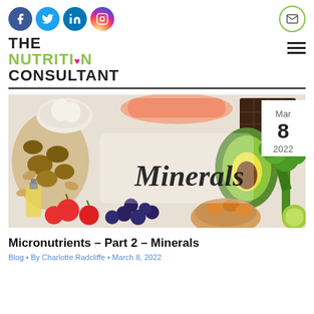Social icons: Facebook, Twitter, LinkedIn, Instagram, Email
THE NUTRITION CONSULTANT
[Figure (photo): Photo of various healthy foods including nuts, avocado, vegetables, fruits, fish, chocolate, olive oil arranged around the word 'Minerals' written in cursive. Date badge shows Mar 8 2022.]
Micronutrients – Part 2 – Minerals
Blog • By Charlotte Radcliffe • March 8, 2022